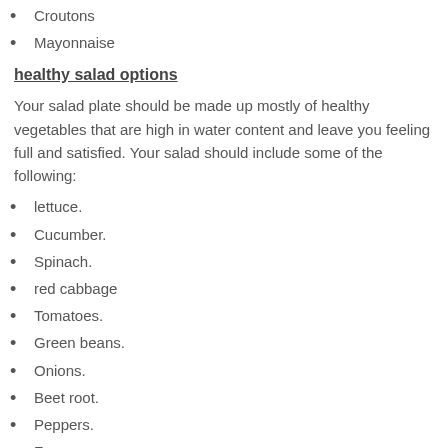Croutons
Mayonnaise
healthy salad options
Your salad plate should be made up mostly of healthy vegetables that are high in water content and leave you feeling full and satisfied. Your salad should include some of the following:
lettuce.
Cucumber.
Spinach.
red cabbage
Tomatoes.
Green beans.
Onions.
Beet root.
Peppers.
Fungus.
Add protein to your salad